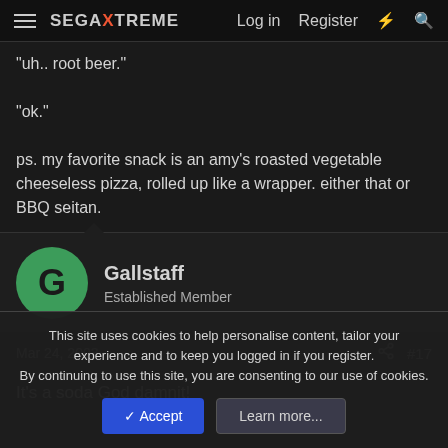SEGAXTREME | Log in | Register
"uh.. root beer."

"ok."

ps. my favorite snack is an amy's roasted vegetable cheeseless pizza, rolled up like a wrapper. either that or BBQ seitan.
Gallstaff
Established Member
Mar 24, 2003  #17
It's a soda God damnit!
This site uses cookies to help personalise content, tailor your experience and to keep you logged in if you register.
By continuing to use this site, you are consenting to our use of cookies.
Accept  Learn more...